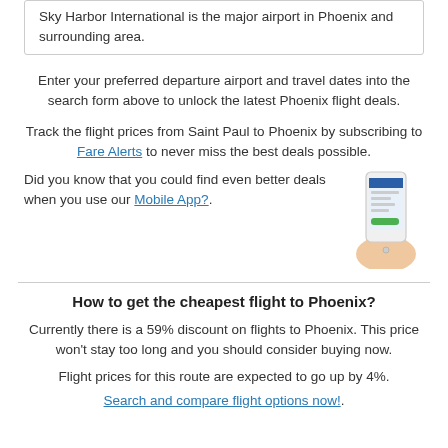Sky Harbor International is the major airport in Phoenix and surrounding area.
Enter your preferred departure airport and travel dates into the search form above to unlock the latest Phoenix flight deals.
Track the flight prices from Saint Paul to Phoenix by subscribing to Fare Alerts to never miss the best deals possible.
Did you know that you could find even better deals when you use our Mobile App?.
[Figure (photo): Hand holding a smartphone displaying a flight search app with a green button.]
How to get the cheapest flight to Phoenix?
Currently there is a 59% discount on flights to Phoenix. This price won't stay too long and you should consider buying now.
Flight prices for this route are expected to go up by 4%.
Search and compare flight options now!.